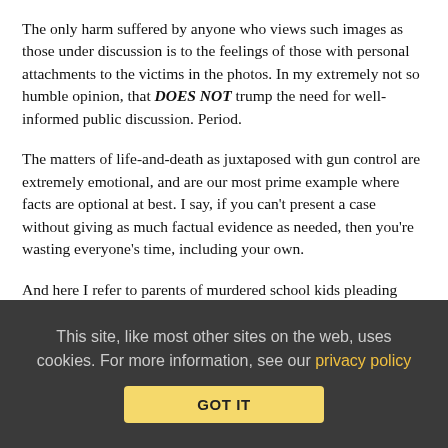The only harm suffered by anyone who views such images as those under discussion is to the feelings of those with personal attachments to the victims in the photos. In my extremely not so humble opinion, that DOES NOT trump the need for well-informed public discussion. Period.
The matters of life-and-death as juxtaposed with gun control are extremely emotional, and are our most prime example where facts are optional at best. I say, if you can't present a case without giving as much factual evidence as needed, then you're wasting everyone's time, including your own.
And here I refer to parents of murdered school kids pleading with legislators to ban guns, yet they don't want images of the results of un-banned guns to be shown. They're pissing in the wind, because they want someone else to believe their feelz, without providing even an approximation of why they feel as they do. They might as well be flashing swords with Zorro, for all the good
This site, like most other sites on the web, uses cookies. For more information, see our privacy policy
GOT IT